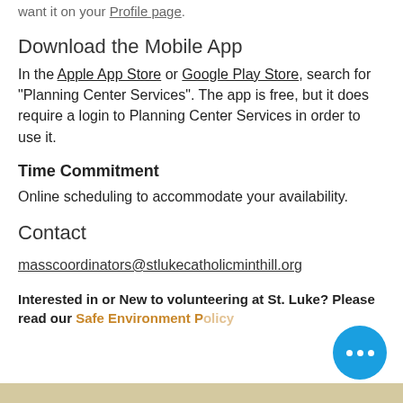want it on your Profile page.
Download the Mobile App
In the Apple App Store or Google Play Store, search for "Planning Center Services". The app is free, but it does require a login to Planning Center Services in order to use it.
Time Commitment
Online scheduling to accommodate your availability.
Contact
masscoordinators@stlukecatholicminthill.org
Interested in or New to volunteering at St. Luke? Please read our Safe Environment Policy